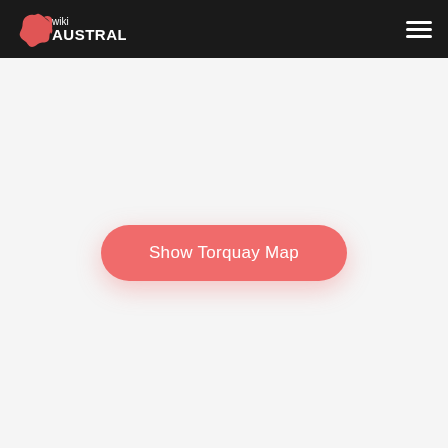wiki AUSTRALIA
[Figure (other): Show Torquay Map button — a rounded red/coral button centered on a light gray background]